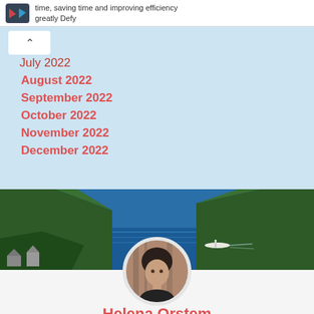time, saving time and improving efficiency greatly Defy
July 2022
August 2022
September 2022
October 2022
November 2022
December 2022
[Figure (photo): Aerial view of a fjord with blue water, green forested mountains on both sides, and a small boat on the water]
[Figure (photo): Circular avatar portrait of a young woman with short dark hair wearing a black shirt]
Helena Orstem
Hi there! I'm Helena, a college senior studying software engineer. I share